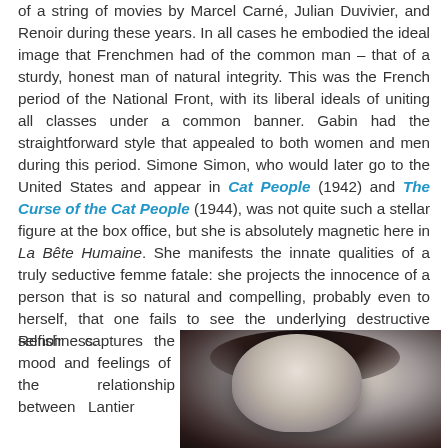of a string of movies by Marcel Carné, Julian Duvivier, and Renoir during these years. In all cases he embodied the ideal image that Frenchmen had of the common man – that of a sturdy, honest man of natural integrity. This was the French period of the National Front, with its liberal ideals of uniting all classes under a common banner. Gabin had the straightforward style that appealed to both women and men during this period. Simone Simon, who would later go to the United States and appear in Cat People (1942) and The Curse of the Cat People (1944), was not quite such a stellar figure at the box office, but she is absolutely magnetic here in La Bête Humaine. She manifests the innate qualities of a truly seductive femme fatale: she projects the innocence of a person that is so natural and compelling, probably even to herself, that one fails to see the underlying destructive selfishness.
Renoir captures the mood and feelings of the relationship between Lantier
[Figure (photo): Black and white film still showing a woman's face looking upward, appearing to be from the 1938 French film La Bête Humaine]